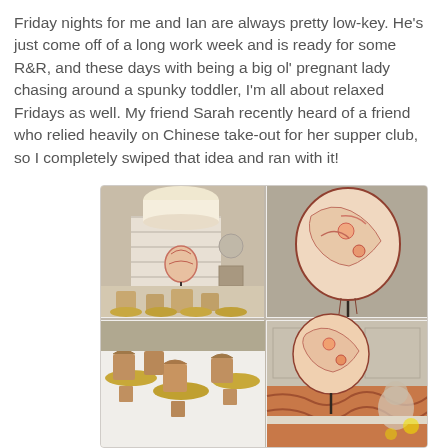Friday nights for me and Ian are always pretty low-key. He's just come off of a long work week and is ready for some R&R, and these days with being a big ol' pregnant lady chasing around a spunky toddler, I'm all about relaxed Fridays as well. My friend Sarah recently heard of a friend who relied heavily on Chinese take-out for her supper club, so I completely swiped that idea and ran with it!
[Figure (photo): A collage of four photos showing a dining table set for a Chinese take-out themed supper club. Top-left shows a room with a large pendant lamp and a decorative Chinese paper lantern on a stand. Top-right shows a close-up of the colorful Chinese paper lantern with floral and bird motifs. Bottom-left shows Chinese take-out containers on gold dinner plates arranged on a white tablecloth. Bottom-right shows the lantern again near the dining table with guests in the background.]